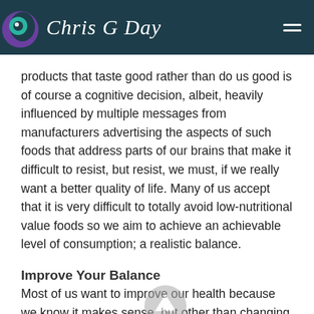Chris G Day
products that taste good rather than do us good is of course a cognitive decision, albeit, heavily influenced by multiple messages from manufacturers advertising the aspects of such foods that address parts of our brains that make it difficult to resist, but resist, we must, if we really want a better quality of life. Many of us accept that it is very difficult to totally avoid low-nutritional value foods so we aim to achieve an achievable level of consumption; a realistic balance.
Improve Your Balance
Most of us want to improve our health because we know it makes sense, but other than changing our diet, which IS very important, how can we 'change our minds' about